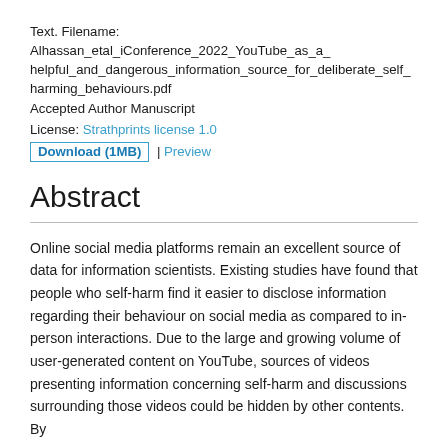Text. Filename: Alhassan_etal_iConference_2022_YouTube_as_a_helpful_and_dangerous_information_source_for_deliberate_self_harming_behaviours.pdf
Accepted Author Manuscript
License: Strathprints license 1.0
Download (1MB) | Preview
Abstract
Online social media platforms remain an excellent source of data for information scientists. Existing studies have found that people who self-harm find it easier to disclose information regarding their behaviour on social media as compared to in-person interactions. Due to the large and growing volume of user-generated content on YouTube, sources of videos presenting information concerning self-harm and discussions surrounding those videos could be hidden by other contents. By